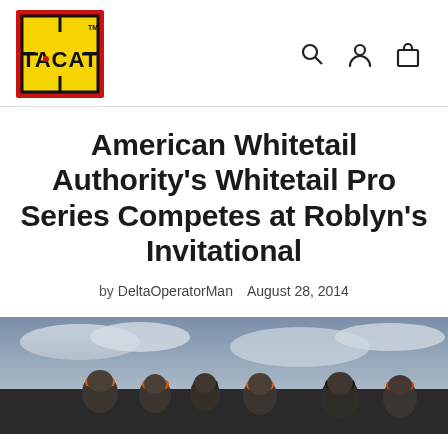[Figure (logo): TACAT logo: yellow square with red border, crosshair lines, bold black text TACAT with a red dot in the A]
[Figure (infographic): Navigation icons: search magnifying glass, user/person icon, shopping bag/cart icon]
American Whitetail Authority's Whitetail Pro Series Competes at Roblyn's Invitational
by DeltaOperatorMan   August 28, 2014
[Figure (photo): Group photo of people wearing orange and black caps outdoors with cloudy sky in background]